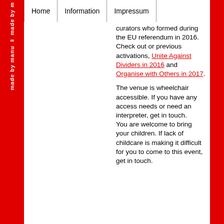Home | Information | Impressum
curators who formed during the EU referendum in 2016. Check out or previous activations, Unite Against Dividers in 2016 and Organise with Others in 2017.
The venue is wheelchair accessible. If you have any access needs or need an interpreter, get in touch. You are welcome to bring your children. If lack of childcare is making it difficult for you to come to this event, get in touch.